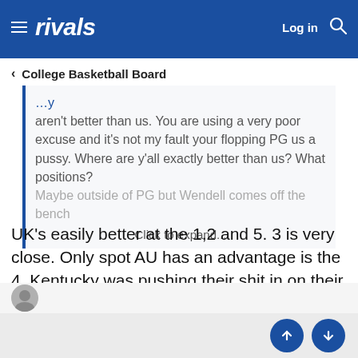rivals — Log in
< College Basketball Board
aren't better than us. You are using a very poor excuse and it's not my fault your flopping PG us a pussy. Where are y'all exactly better than us? What positions? Maybe outside of PG but Wendell comes off the bench
Click to expand...
UK's easily better at the 1,2 and 5. 3 is very close. Only spot AU has an advantage is the 4. Kentucky was pushing their shit in on their home floor in front of the best crowd Auburn has had ever. Doesn't take a genius to figure that out.
JC for 3